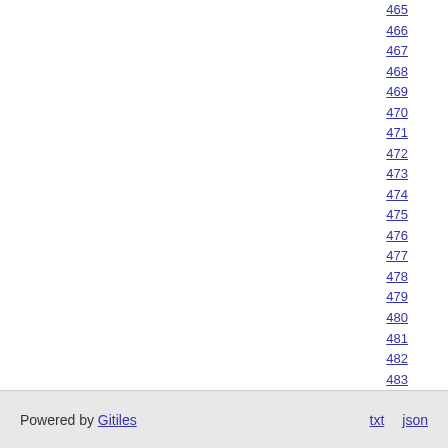465 466 467 468 469 470 471 472 473 474 475 476 477 478 479 480 481 482 483 484 485 486
Powered by Gitiles   txt   json